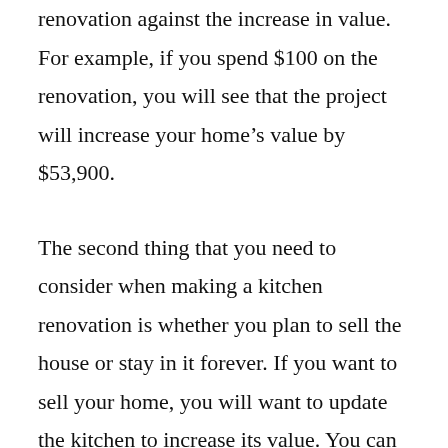renovation against the increase in value. For example, if you spend $100 on the renovation, you will see that the project will increase your home's value by $53,900.

The second thing that you need to consider when making a kitchen renovation is whether you plan to sell the house or stay in it forever. If you want to sell your home, you will want to update the kitchen to increase its value. You can do this by replacing outdated appliances, installing new cabinets, and